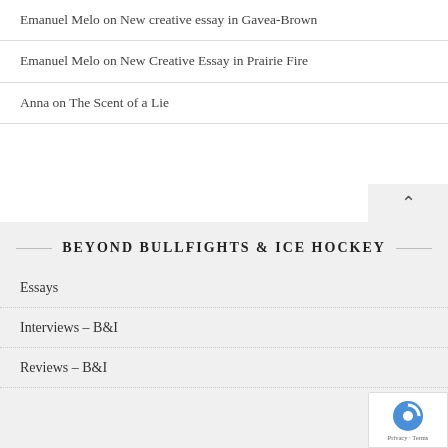Emanuel Melo on New creative essay in Gavea-Brown
Emanuel Melo on New Creative Essay in Prairie Fire
Anna on The Scent of a Lie
BEYOND BULLFIGHTS & ICE HOCKEY
Essays
Interviews – B&I
Reviews – B&I